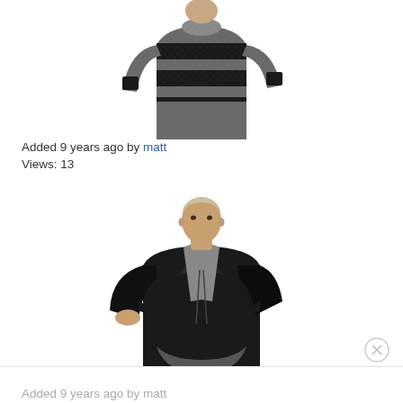[Figure (photo): Man wearing a gray and black striped sweater with dark jeans, cropped to show torso and upper legs only]
Added 9 years ago by matt
Views: 13
[Figure (photo): Young man in a black leather jacket with arms crossed, gray scarf, on white background]
Added 9 years ago by matt